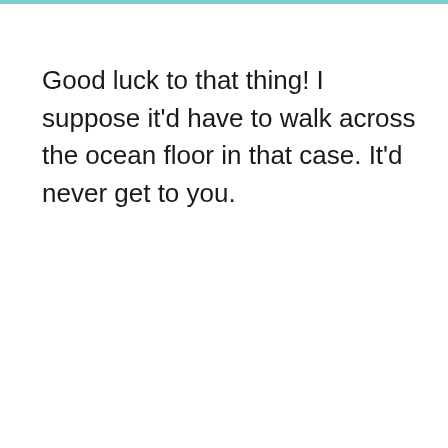Good luck to that thing! I suppose it'd have to walk across the ocean floor in that case. It'd never get to you.